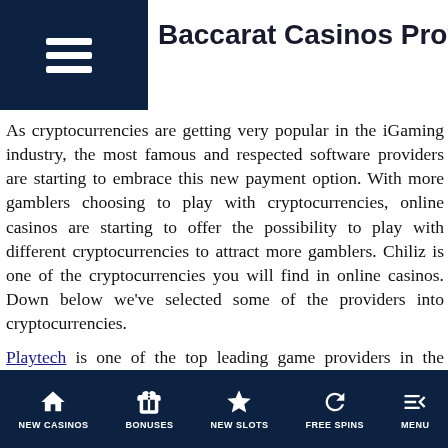Baccarat Casinos Providers
As cryptocurrencies are getting very popular in the iGaming industry, the most famous and respected software providers are starting to embrace this new payment option. With more gamblers choosing to play with cryptocurrencies, online casinos are starting to offer the possibility to play with different cryptocurrencies to attract more gamblers. Chiliz is one of the cryptocurrencies you will find in online casinos. Down below we've selected some of the providers into cryptocurrencies.
Playtech is one of the top leading game providers in the iGaming industry. This brand has been offering amazing gaming experiences to its fans since its establishment. Ever since Playtech has been innovating and improving its portfolio. So far this company has tremendous success and it comes as no surprise that the company's products are amongst the most played.
NEW CASINOS  BONUSES  NEW SLOTS  FREE SPINS  MENU